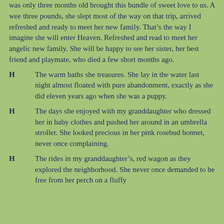was only three months old brought this bundle of sweet love to us. A wee three pounds, she slept most of the way on that trip, arrived refreshed and ready to meet her new family. That’s the way I imagine she will enter Heaven. Refreshed and read to meet her angelic new family. She will be happy to see her sister, her best friend and playmate, who died a few short months ago.
H	The warm baths she treasures. She lay in the water last night almost floated with pure abandonment, exactly as she did eleven years ago when she was a puppy.
H	The days she enjoyed with my granddaughter who dressed her in baby clothes and pushed her around in an umbrella stroller. She looked precious in her pink rosebud bonnet, never once complaining.
H	The rides in my granddaughter’s, red wagon as they explored the neighborhood. She never once demanded to be free from her perch on a fluffy